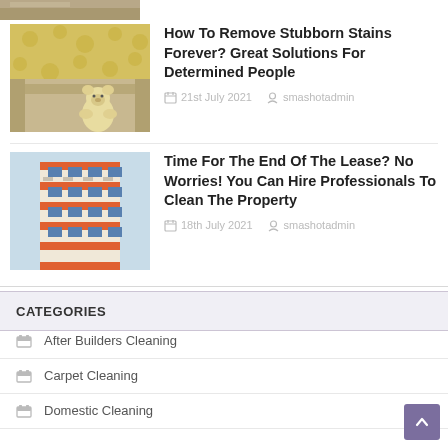[Figure (photo): Partially visible photo of a wooden floor at the very top of the page (cropped)]
[Figure (photo): Photo of a brown sofa with a yellow teddy bear sitting on it, patterned yellow wallpaper in background]
How To Remove Stubborn Stains Forever? Great Solutions For Determined People
21st July 2021   smashotadmin
[Figure (photo): Photo of a colorful European-style building corner against blue sky]
Time For The End Of The Lease? No Worries! You Can Hire Professionals To Clean The Property
18th July 2021   smashotadmin
CATEGORIES
After Builders Cleaning
Carpet Cleaning
Domestic Cleaning